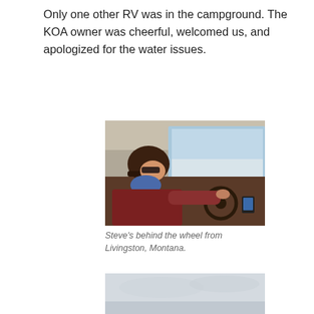Only one other RV was in the campground. The KOA owner was cheerful, welcomed us, and apologized for the water issues.
[Figure (photo): A man wearing a dark cap, sunglasses, and a blue bandana around his neck, dressed in a dark red/maroon long-sleeve shirt, sitting in the driver's seat of an RV, hands on the steering wheel. Through the windshield, a snowy or overcast landscape is visible.]
Steve's behind the wheel from Livingston, Montana.
[Figure (photo): Partial view of a landscape photo, mostly showing an overcast grey sky, partially cut off at the bottom of the page.]